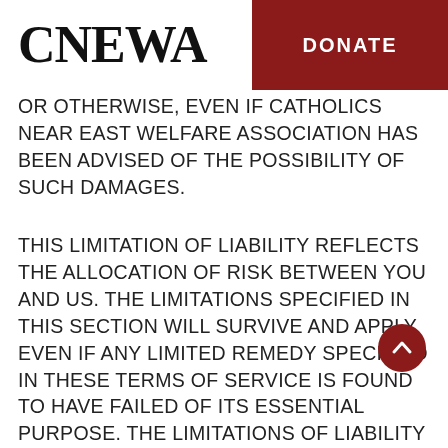CNEWA | DONATE
OR OTHERWISE, EVEN IF CATHOLICS NEAR EAST WELFARE ASSOCIATION HAS BEEN ADVISED OF THE POSSIBILITY OF SUCH DAMAGES.
THIS LIMITATION OF LIABILITY REFLECTS THE ALLOCATION OF RISK BETWEEN YOU AND US. THE LIMITATIONS SPECIFIED IN THIS SECTION WILL SURVIVE AND APPLY EVEN IF ANY LIMITED REMEDY SPECIFIED IN THESE TERMS OF SERVICE IS FOUND TO HAVE FAILED OF ITS ESSENTIAL PURPOSE. THE LIMITATIONS OF LIABILITY PROVIDED IN THESE TERMS OF SERVICE INURE TO THE BENEFIT OF CATHOLIC NEAR EAST WELFARE ASSOCIATION.